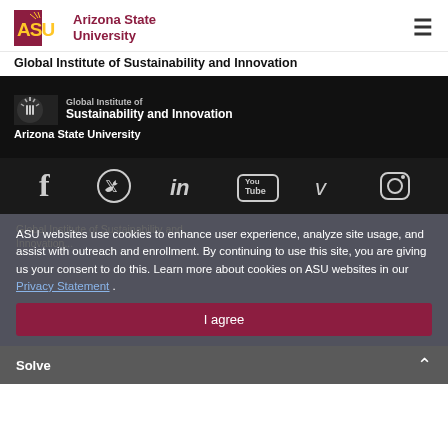Arizona State University
Global Institute of Sustainability and Innovation
[Figure (logo): ASU logo with text: Global Institute of Sustainability and Innovation, Arizona State University on dark background]
[Figure (infographic): Social media icons row: Facebook, Twitter, LinkedIn, YouTube, Vimeo, Instagram]
ASU websites use cookies to enhance user experience, analyze site usage, and assist with outreach and enrollment. By continuing to use this site, you are giving us your consent to do this. Learn more about cookies on ASU websites in our Privacy Statement .
I agree
Solve